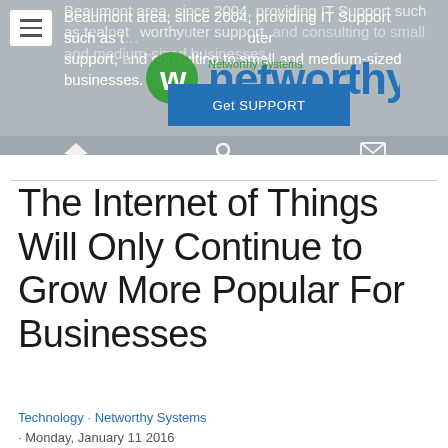[Figure (screenshot): Website header banner with gray background showing partial text about Beaumont area IT support services, Networthy Systems logo overlay, Get SUPPORT blue button, and navigation bar with home, search, and email icons]
The Internet of Things Will Only Continue to Grow More Popular For Businesses
Technology · Networthy Systems · Monday, January 11 2016